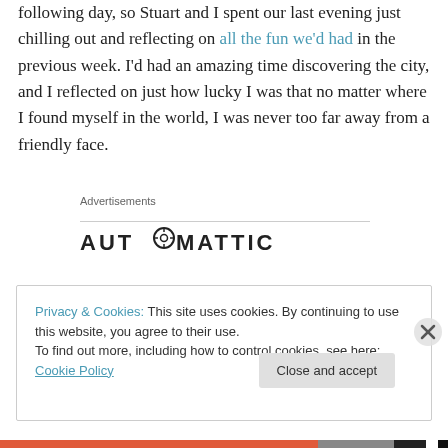following day, so Stuart and I spent our last evening just chilling out and reflecting on all the fun we'd had in the previous week. I'd had an amazing time discovering the city, and I reflected on just how lucky I was that no matter where I found myself in the world, I was never too far away from a friendly face.
Advertisements
[Figure (logo): AUTOMATTIC logo with a compass/target icon replacing the letter O]
Privacy & Cookies: This site uses cookies. By continuing to use this website, you agree to their use.
To find out more, including how to control cookies, see here: Cookie Policy